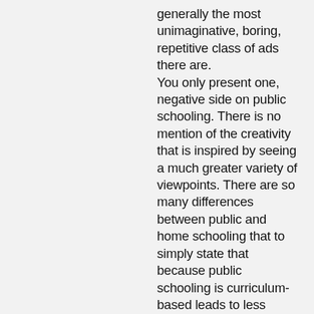generally the most unimaginative, boring, repetitive class of ads there are. You only present one, negative side on public schooling. There is no mention of the creativity that is inspired by seeing a much greater variety of viewpoints. There are so many differences between public and home schooling that to simply state that because public schooling is curriculum-based leads to less creativity is pure bunk. I can imagine ten other